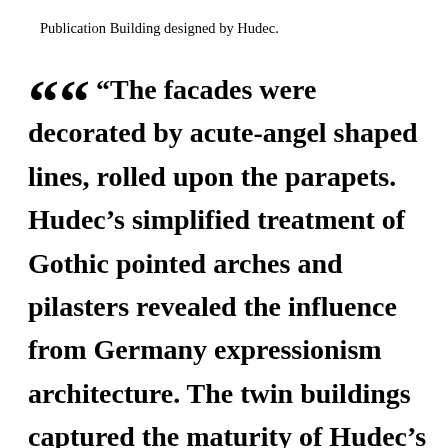Publication Building designed by Hudec.
“The facades were decorated by acute-angel shaped lines, rolled upon the parapets. Hudec’s simplified treatment of Gothic pointed arches and pilasters revealed the influence from Germany expressionism architecture. The twin buildings captured the maturity of Hudec’s own architectural style, which had taken the lead in the Gothic Revival architectural features, using tiles as wall-coating that reflected a new style. In addition, his masterful use of brick layering during the period probably attributed to his